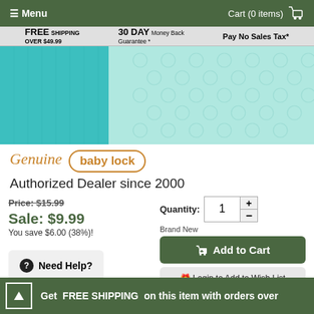Menu | Cart (0 items)
FREE SHIPPING OVER $49.99 | 30 DAY Money Back Guarantee * | Pay No Sales Tax*
[Figure (photo): Close-up photo of teal/turquoise fabric swatches — a solid color and a patterned one with circular designs]
[Figure (logo): Genuine baby lock logo — italic orange text 'Genuine' with 'baby lock' in an oval border]
Authorized Dealer since 2000
Price: $15.99
Sale: $9.99
You save $6.00 (38%)!
Quantity: 1
Brand New
Add to Cart
Need Help?
Login to Add to Wish List
Get FREE SHIPPING on this item with orders over